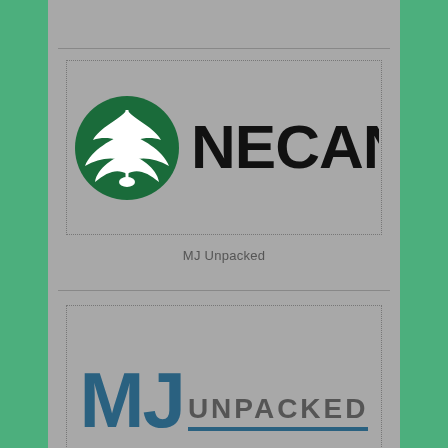[Figure (logo): NECANN logo: dark green cannabis leaf circle icon followed by bold text NECANN in black]
MJ Unpacked
[Figure (logo): MJ Unpacked logo: large bold teal MJ letters followed by UNPACKED in gray with teal underline]